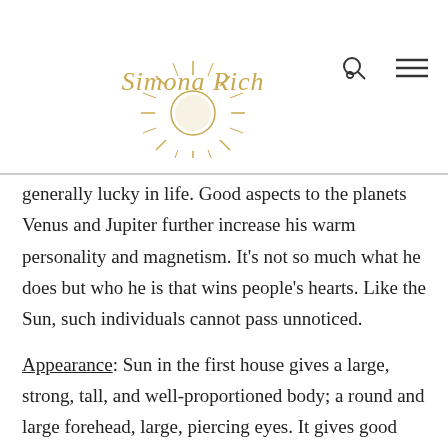Simona Rich
generally lucky in life. Good aspects to the planets Venus and Jupiter further increase his warm personality and magnetism. It's not so much what he does but who he is that wins people's hearts. Like the Sun, such individuals cannot pass unnoticed.
Appearance: Sun in the first house gives a large, strong, tall, and well-proportioned body; a round and large forehead, large, piercing eyes. It gives good health, a ruddy complexion, often blond hair, and the tendency of hair loss in later years.
A native tends to quickly recover from illnesses and accidents, even when his Sun isn't well aspected. It's likely that the native will pay a lot of attention to the